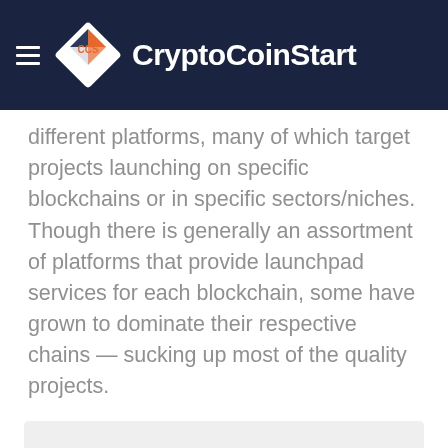CryptoCoinStart
different platforms, many of which target projects launching on specific blockchains or in specific sectors/niches. Though there is generally an assortment of platforms that provide launchpad services for each blockchain, some have grown to dominate their respective chains — sucking up most of the quality projects.
[Figure (other): Gray placeholder box representing an embedded image or advertisement area]